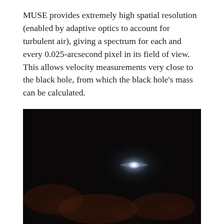MUSE provides extremely high spatial resolution (enabled by adaptive optics to account for turbulent air), giving a spectrum for each and every 0.025-arcsecond pixel in its field of view. This allows velocity measurements very close to the black hole, from which the black hole's mass can be calculated.
[Figure (photo): Astronomical image showing a bright white light source (likely a galaxy nucleus or star) against a very dark background, with faint reddish-brown nebulous structures visible in the lower portion of the image.]